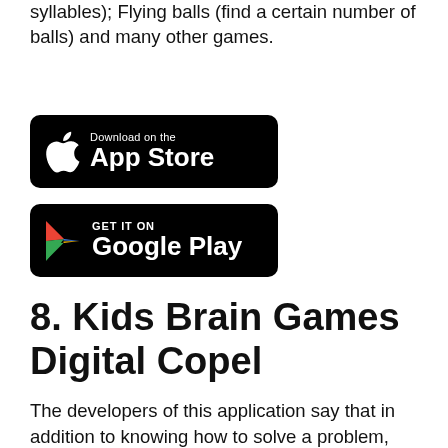syllables); Flying balls (find a certain number of balls) and many other games.
[Figure (logo): Download on the App Store badge — black rounded rectangle with Apple logo and text 'Download on the App Store']
[Figure (logo): Get it on Google Play badge — black rounded rectangle with Google Play triangle logo and text 'GET IT ON Google Play']
8. Kids Brain Games Digital Copel
The developers of this application say that in addition to knowing how to solve a problem, you need to be confident in order to